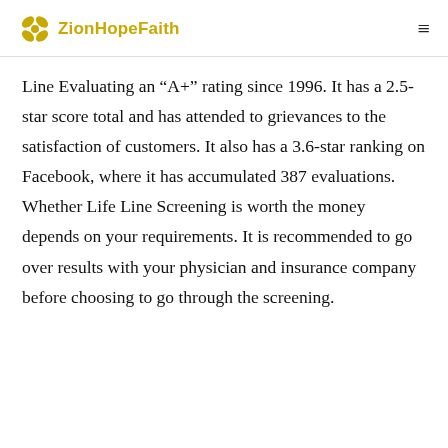ZionHopeFaith
Line Evaluating an “A+” rating since 1996. It has a 2.5-star score total and has attended to grievances to the satisfaction of customers. It also has a 3.6-star ranking on Facebook, where it has accumulated 387 evaluations. Whether Life Line Screening is worth the money depends on your requirements. It is recommended to go over results with your physician and insurance company before choosing to go through the screening.